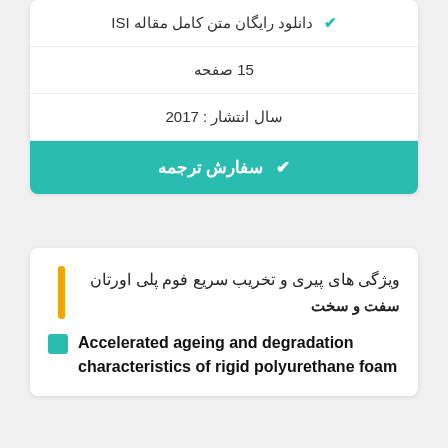✔ دانلود رایگان متن کامل مقاله ISI
15 صفحه
سال انتشار : 2017
✔ سفارش ترجمه
ویژگی های پیری و تخریب سریع فوم پلی اورتان سفت و سخت
Accelerated ageing and degradation characteristics of rigid polyurethane foam